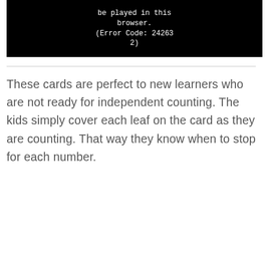[Figure (screenshot): Black video player area showing error message: 'be played in this browser. (Error Code: 242632)']
These cards are perfect to new learners who are not ready for independent counting. The kids simply cover each leaf on the card as they are counting. That way they know when to stop for each number.